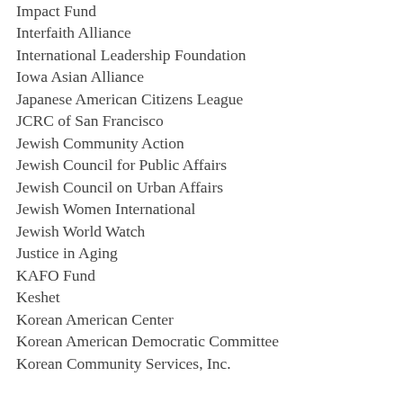Impact Fund
Interfaith Alliance
International Leadership Foundation
Iowa Asian Alliance
Japanese American Citizens League
JCRC of San Francisco
Jewish Community Action
Jewish Council for Public Affairs
Jewish Council on Urban Affairs
Jewish Women International
Jewish World Watch
Justice in Aging
KAFO Fund
Keshet
Korean American Center
Korean American Democratic Committee
Korean Community Services, Inc.